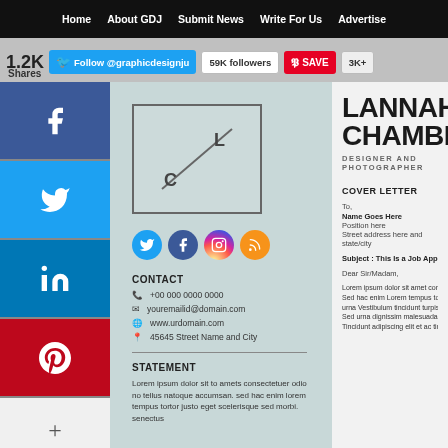Home  About GDJ  Submit News  Write For Us  Advertise
1.2K  Follow @graphicdesignju  59K followers  SAVE  3K+  Shares
[Figure (screenshot): Social share sidebar with Facebook, Twitter, LinkedIn, Pinterest and more buttons]
[Figure (logo): LC logo with diagonal line inside a square border]
[Figure (illustration): Social media icons: Twitter, Facebook, Instagram, RSS feed]
CONTACT
+00 000 0000 0000
youremailid@domain.com
www.urdomain.com
45645 Street Name and City
STATEMENT
Lorem ipsum dolor sit to amets consectetuer odio no tellus natoque accumsan. sed hac enim lorem tempus tortor justo eget scelerisque sed morbi. senectus
LANNAH CHAMBERLA
DESIGNER AND PHOTOGRAPHER
COVER LETTER
To,
Name Goes Here
Position here
Street address here and state/city
Subject : This Is a Job Application For Any Position In
Dear Sir/Madam,
Lorem ipsum dolor sit amet consectetuer odio non to Sed hac enim Lorem tempus tortor justo eget sceleris urna Vestibulum tincidunt turpis sem magna Nam he Sed urna dignissim malesuada eleifend ultrices justo Tincidunt adipiscing elit et ac tincidunt elit nulla m